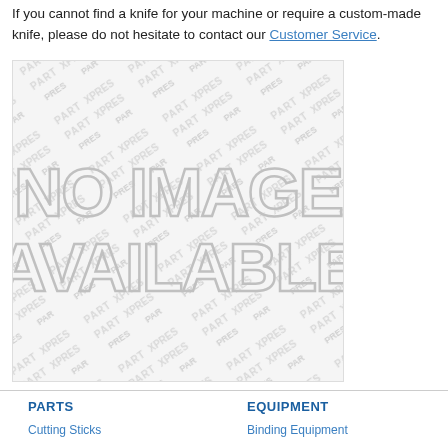If you cannot find a knife for your machine or require a custom-made knife, please do not hesitate to contact our Customer Service.
[Figure (other): Placeholder image with watermark text 'PARTXPRES' repeated diagonally across the background, and large outlined text 'NO IMAGE AVAILABLE' in the center.]
PARTS
Cutting Sticks
Folder Blades
Guillotine Knives
EQUIPMENT
Binding Equipment
Color Measuring
Densitometers